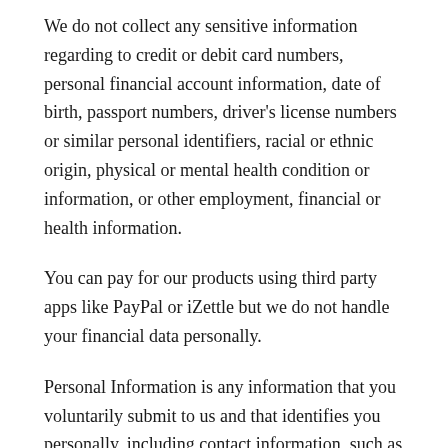We do not collect any sensitive information regarding to credit or debit card numbers, personal financial account information, date of birth, passport numbers, driver's license numbers or similar personal identifiers, racial or ethnic origin, physical or mental health condition or information, or other employment, financial or health information.
You can pay for our products using third party apps like PayPal or iZettle but we do not handle your financial data personally.
Personal Information is any information that you voluntarily submit to us and that identifies you personally, including contact information, such as your name, email address, company name, address, phone number, and other information about yourself or your organisation. Personal Information can also include information about any